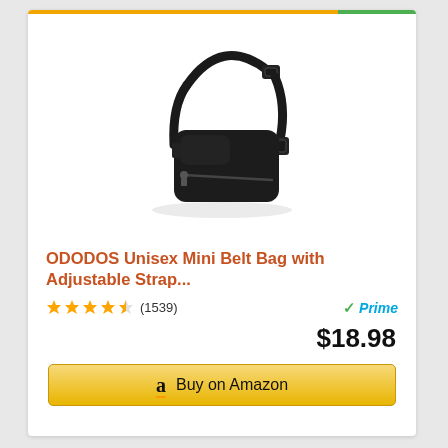[Figure (photo): Black unisex mini belt bag with adjustable strap and zipper, photographed on white background]
ODODOS Unisex Mini Belt Bag with Adjustable Strap...
★★★★½ (1539)
✓Prime
$18.98
Buy on Amazon